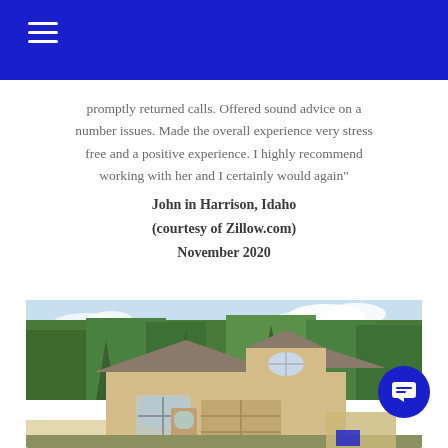Navigation menu (hamburger icon on blue header bar)
promptly returned calls. Offered sound advice on a number issues. Made the overall experience very stress free and a positive experience. I highly recommend working with her and I certainly would again"
John in Harrison, Idaho
(courtesy of Zillow.com)
November 2020
[Figure (photo): Exterior photo of a two-story residential house with beige/tan stucco siding, arched windows, dark roof, and large green trees in the background under a partly cloudy sky. A blue circular chat button overlay appears in the lower right corner of the image.]